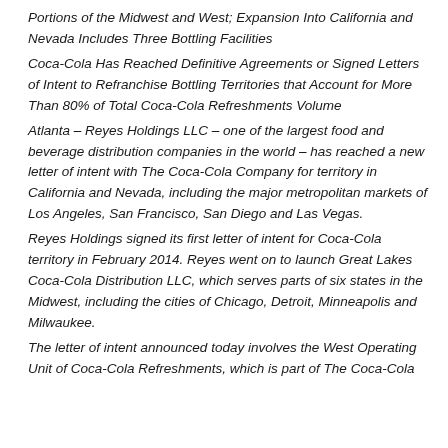Portions of the Midwest and West; Expansion Into California and Nevada Includes Three Bottling Facilities
Coca-Cola Has Reached Definitive Agreements or Signed Letters of Intent to Refranchise Bottling Territories that Account for More Than 80% of Total Coca-Cola Refreshments Volume
Atlanta – Reyes Holdings LLC – one of the largest food and beverage distribution companies in the world – has reached a new letter of intent with The Coca-Cola Company for territory in California and Nevada, including the major metropolitan markets of Los Angeles, San Francisco, San Diego and Las Vegas.
Reyes Holdings signed its first letter of intent for Coca-Cola territory in February 2014. Reyes went on to launch Great Lakes Coca-Cola Distribution LLC, which serves parts of six states in the Midwest, including the cities of Chicago, Detroit, Minneapolis and Milwaukee.
The letter of intent announced today involves the West Operating Unit of Coca-Cola Refreshments, which is part of The Coca-Cola